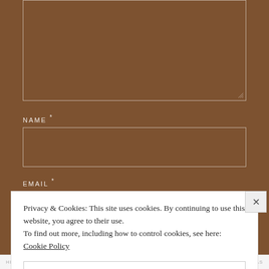[Figure (screenshot): Textarea input box with brown background and white border, with a resize handle at the bottom right corner]
NAME *
[Figure (screenshot): Name input field with brown background and white border]
EMAIL *
Privacy & Cookies: This site uses cookies. By continuing to use this website, you agree to their use.
To find out more, including how to control cookies, see here: Cookie Policy
Close and accept
HIDEFOOTER AS